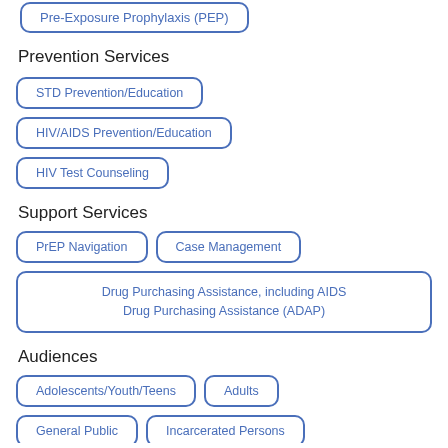Pre-Exposure Prophylaxis (PEP)
Prevention Services
STD Prevention/Education
HIV/AIDS Prevention/Education
HIV Test Counseling
Support Services
PrEP Navigation
Case Management
Drug Purchasing Assistance, including AIDS Drug Purchasing Assistance (ADAP)
Audiences
Adolescents/Youth/Teens
Adults
General Public
Incarcerated Persons